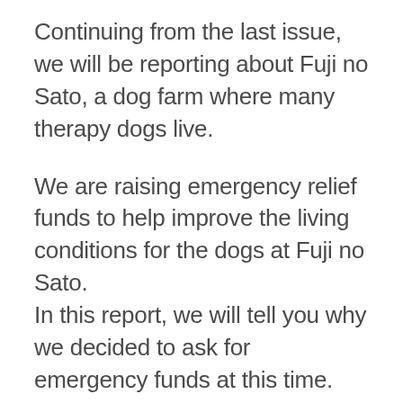Continuing from the last issue, we will be reporting about Fuji no Sato, a dog farm where many therapy dogs live.
We are raising emergency relief funds to help improve the living conditions for the dogs at Fuji no Sato.
In this report, we will tell you why we decided to ask for emergency funds at this time. We would like to explain in more detail what is going on here.
Fuji No Sato is the place where Johann, one of the main active dogs at JATA who